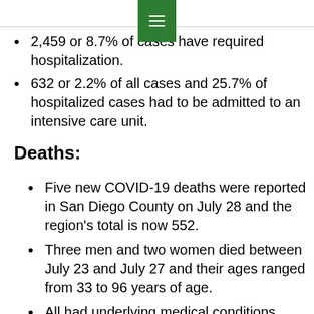2,459 or 8.7% of cases have required hospitalization.
632 or 2.2% of all cases and 25.7% of hospitalized cases had to be admitted to an intensive care unit.
Deaths:
Five new COVID-19 deaths were reported in San Diego County on July 28 and the region's total is now 552.
Three men and two women died between July 23 and July 27 and their ages ranged from 33 to 96 years of age.
All had underlying medical conditions.